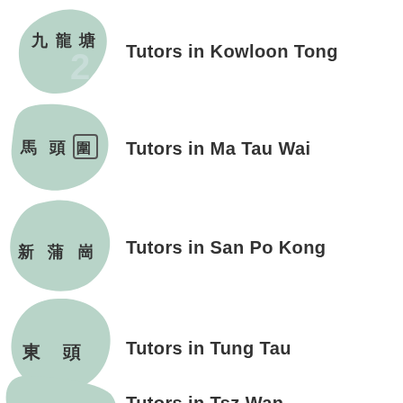Tutors in Kowloon Tong
Tutors in Ma Tau Wai
Tutors in San Po Kong
Tutors in Tung Tau
Tutors in Tsz Wan Shan (partial)